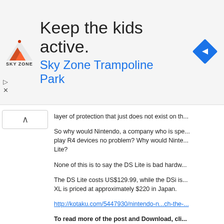[Figure (infographic): Sky Zone Trampoline Park advertisement banner with logo, headline 'Keep the kids active.' and subheadline 'Sky Zone Trampoline Park', with a blue diamond arrow navigation icon on the right.]
layer of protection that just does not exist on th...
So why would Nintendo, a company who is spe... play R4 devices no problem? Why would Ninte... Lite?
None of this is to say the DS Lite is bad hardw...
The DS Lite costs US$129.99, while the DSi is... XL is priced at approximately $220 in Japan.
http://kotaku.com/5447930/nintendo-n...ch-the-...
To read more of the post and Download, cli...
Join In and Discuss Here
Submit News and Releases Here and Contact...
Snes9X v1.52 fix3
January 14th, 2010, 22:44 Posted By: wraggs...